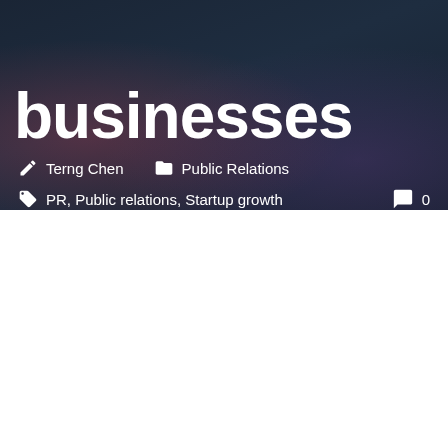businesses
Terng Chen   Public Relations
PR, Public relations, Startup growth   0